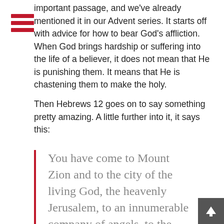important passage, and we've already mentioned it in [our] Advent series. It starts off with advice for how to bear God's affliction. When God brings hardship or suffering into the life of a believer, it does not mean that He is punishing them. It means that He is chastening them to make the holy.
Then Hebrews 12 goes on to say something pretty amazing. A little further into it, it says this:
You have come to Mount Zion and to the city of the living God, the heavenly Jerusalem, to an innumerable company of angels, to the general assembly and church of the firstborn who are registered in heaven, to God the Judge of all, to the spirits of just men made perfect, to Jesus the Mediator of the new